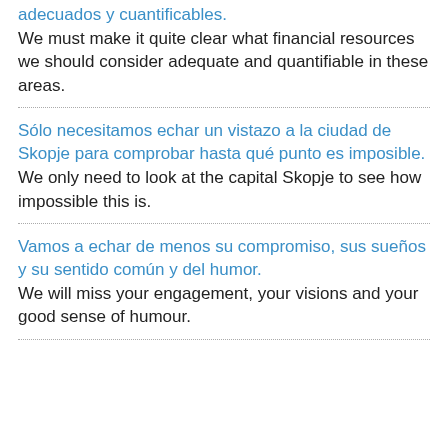adecuados y cuantificables. (blue) We must make it quite clear what financial resources we should consider adequate and quantifiable in these areas.
Sólo necesitamos echar un vistazo a la ciudad de Skopje para comprobar hasta qué punto es imposible. (blue) We only need to look at the capital Skopje to see how impossible this is.
Vamos a echar de menos su compromiso, sus sueños y su sentido común y del humor. (blue) We will miss your engagement, your visions and your good sense of humour.